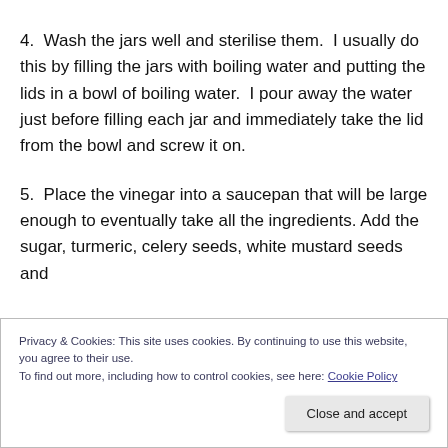4.  Wash the jars well and sterilise them.  I usually do this by filling the jars with boiling water and putting the lids in a bowl of boiling water.  I pour away the water just before filling each jar and immediately take the lid from the bowl and screw it on.
5.  Place the vinegar into a saucepan that will be large enough to eventually take all the ingredients. Add the sugar, turmeric, celery seeds, white mustard seeds and
Privacy & Cookies: This site uses cookies. By continuing to use this website, you agree to their use.
To find out more, including how to control cookies, see here: Cookie Policy